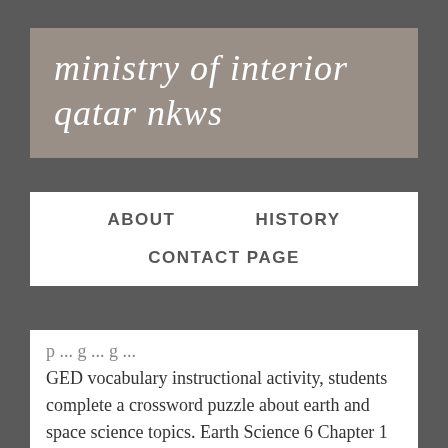ministry of interior qatar nkws
ABOUT    HISTORY    CONTACT PAGE
p ... g ... g ... GED vocabulary instructional activity, students complete a crossword puzzle about earth and space science topics. Earth Science 6 Chapter 1 Worksheets - Learny Kids CHCS Earth Science Chapter 1 ... crossword puzzle earth science